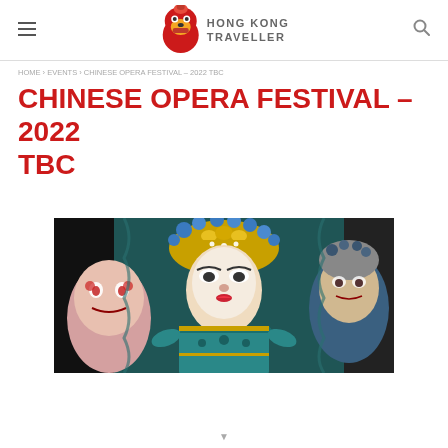Hong Kong Traveller
CHINESE OPERA FESTIVAL – 2022 TBC
[Figure (photo): Chinese opera performers in elaborate traditional costumes and headdresses, featuring a central performer in a teal and gold costume with an ornate golden crown, flanked by two other opera characters against a dark teal backdrop.]